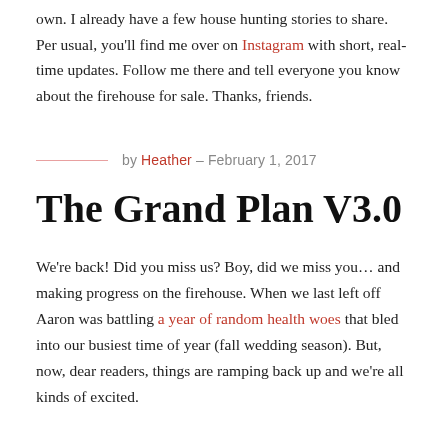own. I already have a few house hunting stories to share. Per usual, you'll find me over on Instagram with short, real-time updates. Follow me there and tell everyone you know about the firehouse for sale. Thanks, friends.
by Heather – February 1, 2017
The Grand Plan V3.0
We're back! Did you miss us? Boy, did we miss you… and making progress on the firehouse. When we last left off Aaron was battling a year of random health woes that bled into our busiest time of year (fall wedding season). But, now, dear readers, things are ramping back up and we're all kinds of excited.